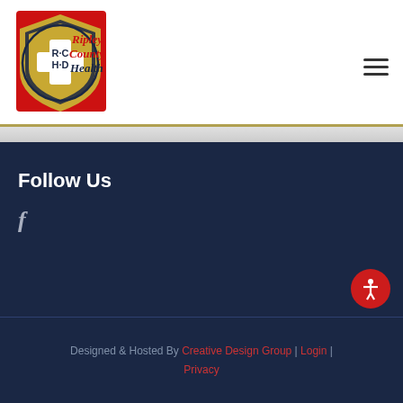[Figure (logo): Ripley County Health Department (RCHD) shield logo with red background, gold shield, cross, and text 'Ripley County Health' in bold italic]
Follow Us
f (Facebook icon)
Designed & Hosted By Creative Design Group | Login | Privacy